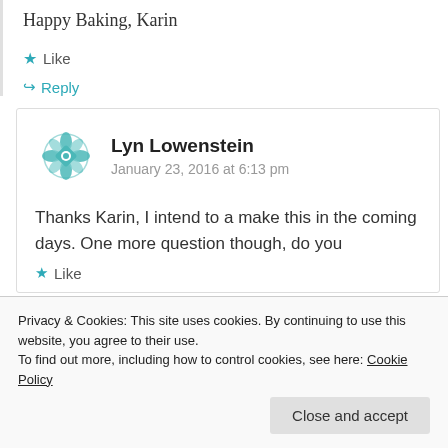Happy Baking, Karin
Like
Reply
Lyn Lowenstein
January 23, 2016 at 6:13 pm
Thanks Karin, I intend to a make this in the coming days. One more question though, do you
Like
Privacy & Cookies: This site uses cookies. By continuing to use this website, you agree to their use.
To find out more, including how to control cookies, see here: Cookie Policy
Close and accept